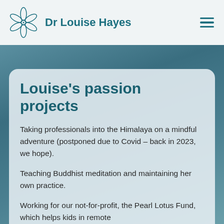Dr Louise Hayes
Louise's passion projects
Taking professionals into the Himalaya on a mindful adventure (postponed due to Covid – back in 2023, we hope).
Teaching Buddhist meditation and maintaining her own practice.
Working for our not-for-profit, the Pearl Lotus Fund, which helps kids in remote